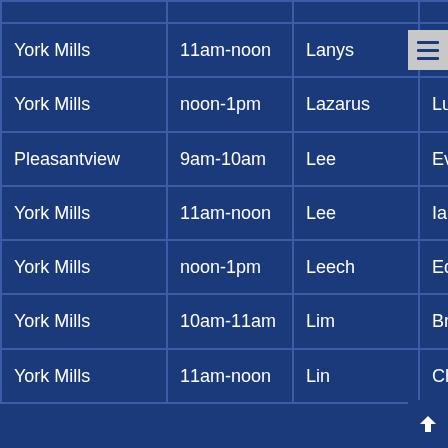| Location | Time | Last Name | First Name |
| --- | --- | --- | --- |
| York Mills | 11am-noon | Lanys | Ari |
| York Mills | noon-1pm | Lazarus | Lucas |
| Pleasantview | 9am-10am | Lee | Evan |
| York Mills | 11am-noon | Lee | Ian |
| York Mills | noon-1pm | Leech | Edward |
| York Mills | 10am-11am | Lim | Brandon |
| York Mills | 11am-noon | Lin | Chi-Shen |